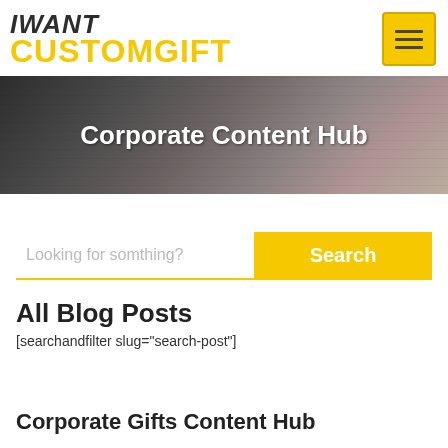[Figure (logo): iWANT CUSTOMGIFT logo — 'iWANT' in bold italic dark text, 'CUSTOMGIFT' in bold yellow text]
[Figure (photo): Hero banner showing hands typing on a keyboard, dark background with 'Corporate Content Hub' text overlay]
Corporate Content Hub
[Figure (other): Search bar with placeholder text 'Looking for somthing?' and yellow 'Search' button]
All Blog Posts
[searchandfilter slug="search-post"]
Corporate Gifts Content Hub